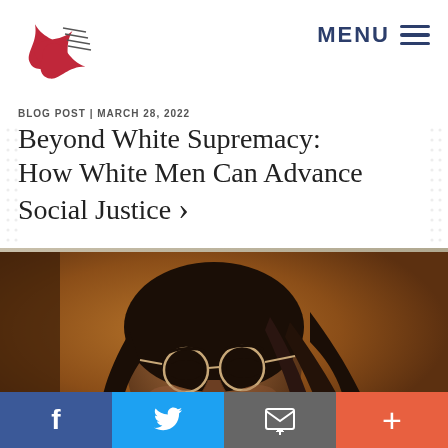MENU
[Figure (logo): Red star/flower logo mark]
BLOG POST | MARCH 28, 2022
Beyond White Supremacy: How White Men Can Advance Social Justice ›
[Figure (photo): Portrait photo of a Black woman with locs and round glasses wearing a purple jacket, looking upward slightly, warm amber background]
f
🐦
✉
+